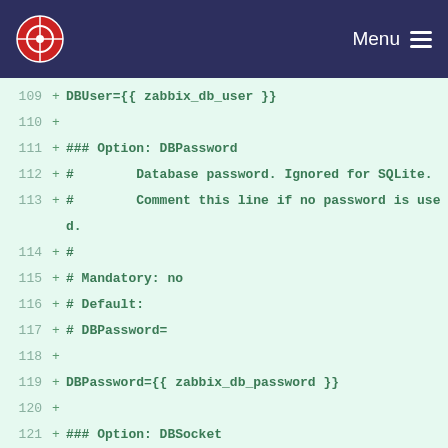[Figure (screenshot): Navigation bar with red circular logo on left and Menu with hamburger icon on right, dark navy background]
Code diff snippet showing lines 109-126 of a Zabbix configuration file template with DBUser, DBPassword, and DBSocket options
109  + DBUser={{ zabbix_db_user }}
110  +
111  + ### Option: DBPassword
112  + #        Database password. Ignored for SQLite.
113  + #        Comment this line if no password is used.
114  + #
115  + # Mandatory: no
116  + # Default:
117  + # DBPassword=
118  +
119  + DBPassword={{ zabbix_db_password }}
120  +
121  + ### Option: DBSocket
122  + #        Path to MySQL socket.
123  + #
124  + # Mandatory: no
125  + # Default:
126  + # DBSocket=/tmp/mysql.sock